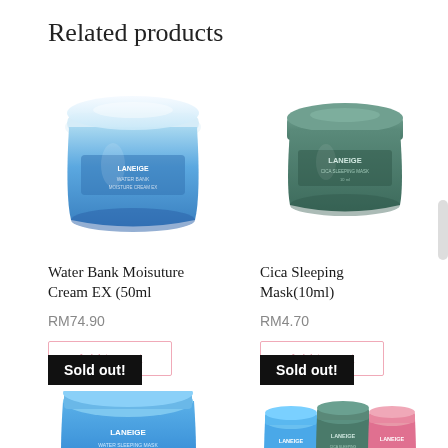Related products
[Figure (photo): LANEIGE Water Bank Moisture Cream EX 50ml jar - clear glass jar with blue cream product]
Water Bank Moisuture Cream EX (50ml
RM74.90
Add to cart
[Figure (photo): LANEIGE Cica Sleeping Mask 10ml - small dark teal/green jar]
Cica Sleeping Mask(10ml)
RM4.70
Add to cart
Sold out!
[Figure (photo): LANEIGE Water Sleeping Mask blue jar - partially visible at bottom]
Sold out!
[Figure (photo): LANEIGE mini set with three jars - blue, dark green, and pink - partially visible at bottom]